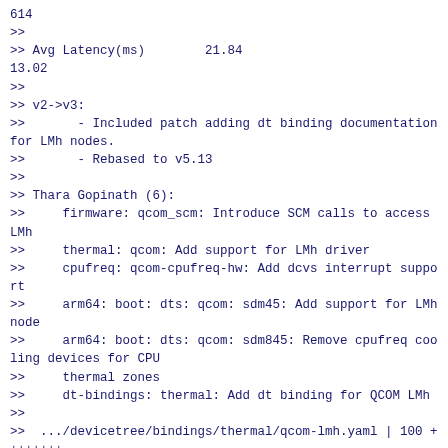614
>>
>> Avg Latency(ms)        21.84
13.02
>>
>> v2->v3:
>>       - Included patch adding dt binding documentation for LMh nodes.
>>       - Rebased to v5.13
>>
>> Thara Gopinath (6):
>>     firmware: qcom_scm: Introduce SCM calls to access LMh
>>     thermal: qcom: Add support for LMh driver
>>     cpufreq: qcom-cpufreq-hw: Add dcvs interrupt support
>>     arm64: boot: dts: qcom: sdm45: Add support for LMh node
>>     arm64: boot: dts: qcom: sdm845: Remove cpufreq cooling devices for CPU
>>     thermal zones
>>     dt-bindings: thermal: Add dt binding for QCOM LMh
>>
>>  .../devicetree/bindings/thermal/qcom-lmh.yaml | 100 ++++++++
>>  arch/arm64/boot/dts/qcom/sdm845.dtsi          | 162 ++----------
>>  drivers/cpufreq/qcom-cpufreq-hw.c             | 118 +++++++++
>>  drivers/firmware/qcom_scm.c                   |